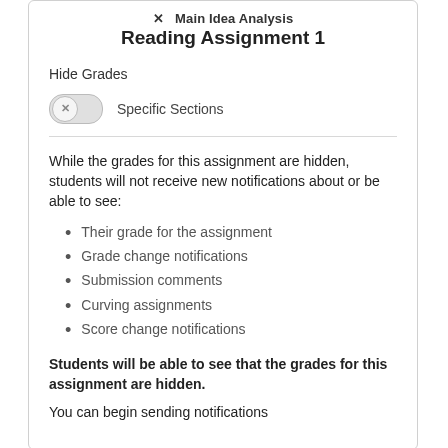Main Idea Analysis Reading Assignment 1
Hide Grades
[Figure (screenshot): Toggle switch in off/disabled state with X icon, labeled 'Specific Sections']
While the grades for this assignment are hidden, students will not receive new notifications about or be able to see:
Their grade for the assignment
Grade change notifications
Submission comments
Curving assignments
Score change notifications
Students will be able to see that the grades for this assignment are hidden.
You can begin sending notifications